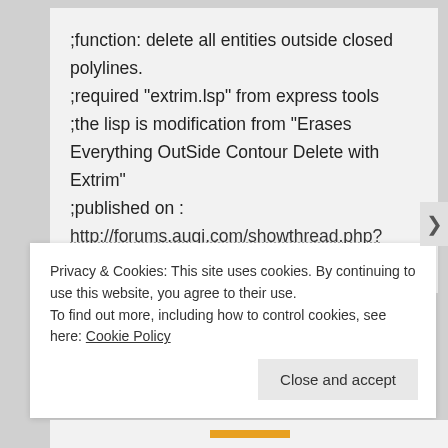;function: delete all entities outside closed polylines.
;required "extrim.lsp" from express tools
;the lisp is modification from "Erases Everything OutSide Contour Delete with Extrim"
;published on :
http://forums.augi.com/showthread.php?55056-Erasing-everything-outside-a-boundary
;modified by: zainul_ulum@cbn.net.id
;modification-01: 30 March 2018
;additonal requirement: closed polylines as
Privacy & Cookies: This site uses cookies. By continuing to use this website, you agree to their use.
To find out more, including how to control cookies, see here: Cookie Policy